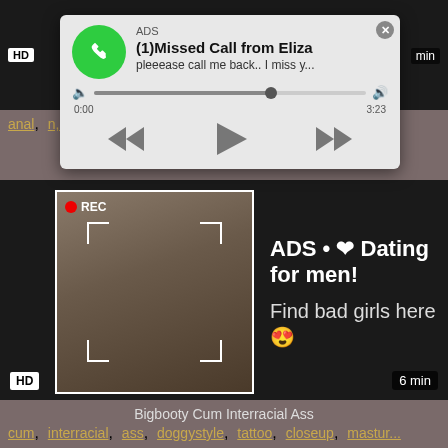[Figure (screenshot): Top dark video strip with HD badge and min label]
anal, ... n, b...
[Figure (screenshot): Audio ad popup: ADS, (1)Missed Call from Eliza, pleeease call me back.. I miss y..., with progress bar 0:00 / 3:23 and playback controls]
[Figure (screenshot): Bottom video ad block with camera recording preview and text: ADS • ❤ Dating for men! Find bad girls here 😍. HD badge and 6 min label.]
Bigbooty Cum Interracial Ass
cum, interracial, ass, doggystyle, tattoo, closeup, mastur...